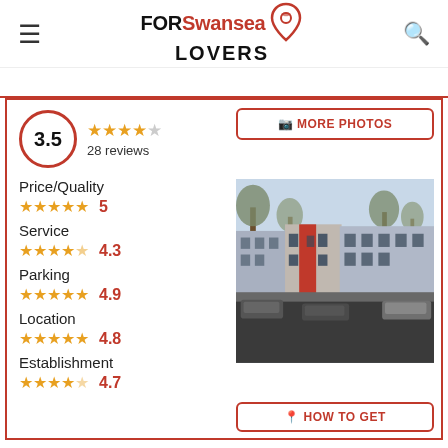FOR Swansea LOVERS
3.5 — 28 reviews
Price/Quality — 5
Service — 4.3
Parking — 4.9
Location — 4.8
Establishment — 4.7
[Figure (photo): Street view of terraced houses with red accents, bare trees, and parked cars on a residential road in Swansea]
MORE PHOTOS
HOW TO GET